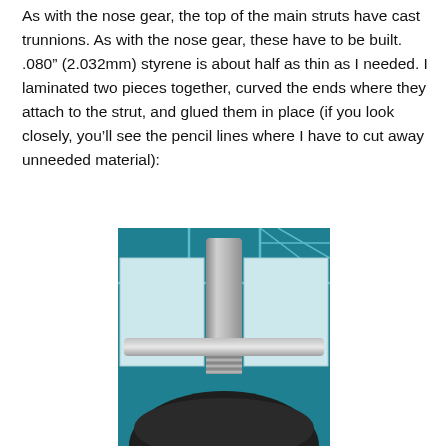As with the nose gear, the top of the main struts have cast trunnions. As with the nose gear, these have to be built. .080" (2.032mm) styrene is about half as thin as I needed. I laminated two pieces together, curved the ends where they attach to the strut, and glued them in place (if you look closely, you'll see the pencil lines where I have to cut away unneeded material):
[Figure (photo): Photograph of a model aircraft landing gear strut component with cast trunnion. Two light blue/white styrene pieces are laminated and attached to a metal strut, set against a teal/blue tiled background. A dark wheel hub is visible at the bottom of the strut.]